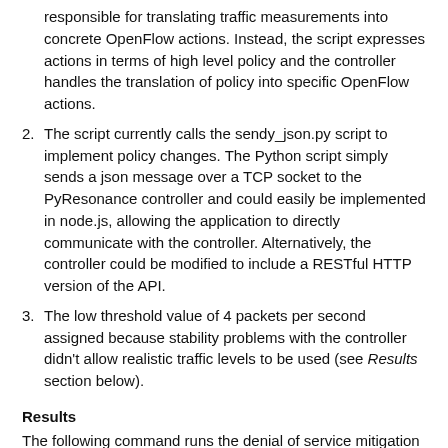responsible for translating traffic measurements into concrete OpenFlow actions. Instead, the script expresses actions in terms of high level policy and the controller handles the translation of policy into specific OpenFlow actions.
The script currently calls the sendy_json.py script to implement policy changes. The Python script simply sends a json message over a TCP socket to the PyResonance controller and could easily be implemented in node.js, allowing the application to directly communicate with the controller. Alternatively, the controller could be modified to include a RESTful HTTP version of the API.
The low threshold value of 4 packets per second assigned because stability problems with the controller didn't allow realistic traffic levels to be used (see Results section below).
Results
The following command runs the denial of service mitigation script: